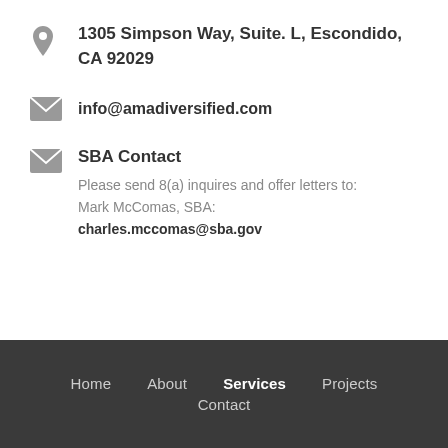1305 Simpson Way, Suite. L, Escondido, CA 92029
info@amadiversified.com
SBA Contact
Please send 8(a) inquires and offer letters to:
Mark McComas, SBA:
charles.mccomas@sba.gov
Home   About   Services   Projects   Contact